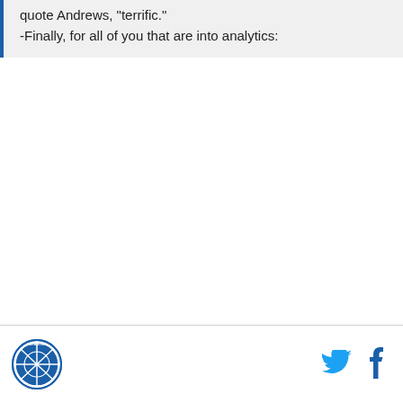quote Andrews, 'terrific.'
-Finally, for all of you that are into analytics:
[Figure (logo): Circular sports team logo with blue and white stripes and text around the border]
[Figure (logo): Twitter bird icon in blue]
[Figure (logo): Facebook 'f' icon in blue]